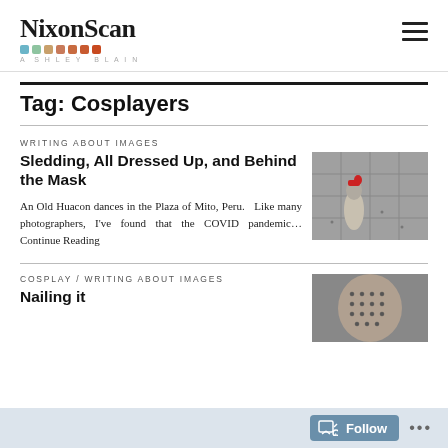NixonScan
Tag: Cosplayers
WRITING ABOUT IMAGES
Sledding, All Dressed Up, and Behind the Mask
[Figure (photo): An Old Huacon dancer on stone pavers in the Plaza of Mito, Peru]
An Old Huacon dances in the Plaza of Mito, Peru.   Like many photographers, I've found that the COVID pandemic... Continue Reading
COSPLAY / WRITING ABOUT IMAGES
Nailing it
[Figure (photo): Close-up of a person with a pin-covered mask or head covering]